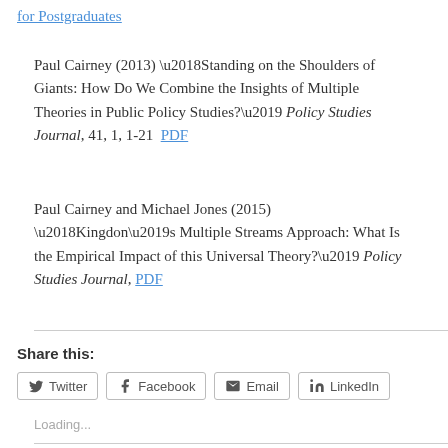for Postgraduates
Paul Cairney (2013) ‘Standing on the Shoulders of Giants: How Do We Combine the Insights of Multiple Theories in Public Policy Studies?’ Policy Studies Journal, 41, 1, 1-21  PDF
Paul Cairney and Michael Jones (2015) ‘Kingdon’s Multiple Streams Approach: What Is the Empirical Impact of this Universal Theory?’ Policy Studies Journal, PDF
Share this:
Loading...